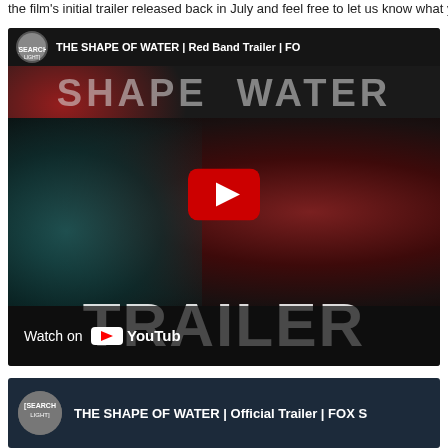the film's initial trailer released back in July and feel free to let us know what yo
[Figure (screenshot): YouTube embedded video thumbnail for 'THE SHAPE OF WATER | Red Band Trailer | FOX' showing a woman's face with red and teal lighting, large TRAILER text overlay, YouTube play button, and 'Watch on YouTube' bar at bottom]
[Figure (screenshot): YouTube embedded video thumbnail for 'THE SHAPE OF WATER | Official Trailer | FOX' showing dark blue/teal background with Searchlight Pictures channel icon and video title text]